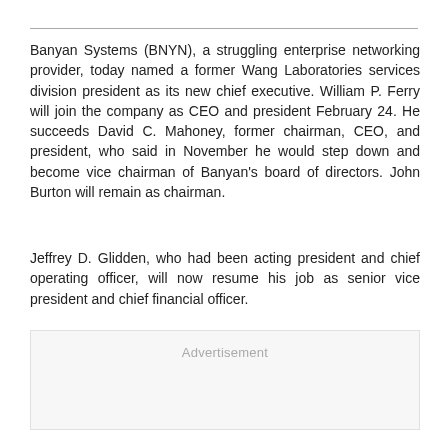Banyan Systems (BNYN), a struggling enterprise networking provider, today named a former Wang Laboratories services division president as its new chief executive. William P. Ferry will join the company as CEO and president February 24. He succeeds David C. Mahoney, former chairman, CEO, and president, who said in November he would step down and become vice chairman of Banyan's board of directors. John Burton will remain as chairman.
Jeffrey D. Glidden, who had been acting president and chief operating officer, will now resume his job as senior vice president and chief financial officer.
[Figure (other): Advertisement placeholder box]